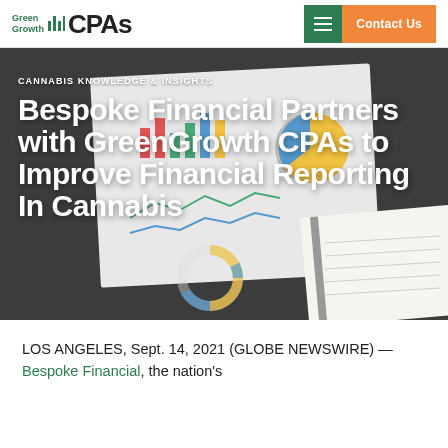Green Growth CPAs — Contact Us
CANNABIS KNOWLEDGE & INSIGHTS
Bespoke Financial Partners with GreenGrowth CPAs to Improve Financial Reporting In Cannabis
[Figure (photo): Background image of financial charts, bar charts, pie charts, and a spiral notebook on a dark desk surface]
LOS ANGELES, Sept. 14, 2021 (GLOBE NEWSWIRE) — Bespoke Financial, the nation's